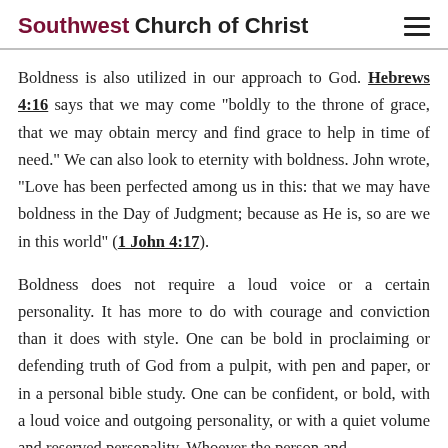Southwest Church of Christ
Boldness is also utilized in our approach to God. Hebrews 4:16 says that we may come “boldly to the throne of grace, that we may obtain mercy and find grace to help in time of need.” We can also look to eternity with boldness. John wrote, “Love has been perfected among us in this: that we may have boldness in the Day of Judgment; because as He is, so are we in this world” (1 John 4:17).
Boldness does not require a loud voice or a certain personality. It has more to do with courage and conviction than it does with style. One can be bold in proclaiming or defending truth of God from a pulpit, with pen and paper, or in a personal bible study. One can be confident, or bold, with a loud voice and outgoing personality, or with a quiet volume and reserved personality. Whoever the person and